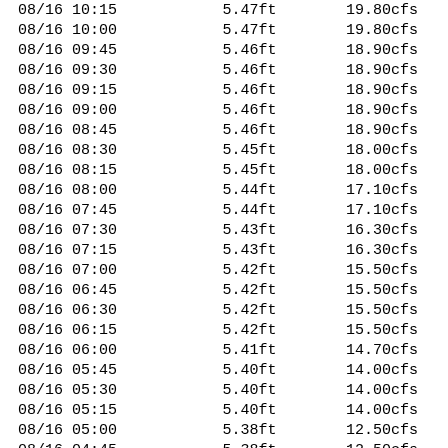| Date/Time | Stage | Flow |
| --- | --- | --- |
| 08/16 10:15 | 5.47ft | 19.80cfs |
| 08/16 10:00 | 5.47ft | 19.80cfs |
| 08/16 09:45 | 5.46ft | 18.90cfs |
| 08/16 09:30 | 5.46ft | 18.90cfs |
| 08/16 09:15 | 5.46ft | 18.90cfs |
| 08/16 09:00 | 5.46ft | 18.90cfs |
| 08/16 08:45 | 5.46ft | 18.90cfs |
| 08/16 08:30 | 5.45ft | 18.00cfs |
| 08/16 08:15 | 5.45ft | 18.00cfs |
| 08/16 08:00 | 5.44ft | 17.10cfs |
| 08/16 07:45 | 5.44ft | 17.10cfs |
| 08/16 07:30 | 5.43ft | 16.30cfs |
| 08/16 07:15 | 5.43ft | 16.30cfs |
| 08/16 07:00 | 5.42ft | 15.50cfs |
| 08/16 06:45 | 5.42ft | 15.50cfs |
| 08/16 06:30 | 5.42ft | 15.50cfs |
| 08/16 06:15 | 5.42ft | 15.50cfs |
| 08/16 06:00 | 5.41ft | 14.70cfs |
| 08/16 05:45 | 5.40ft | 14.00cfs |
| 08/16 05:30 | 5.40ft | 14.00cfs |
| 08/16 05:15 | 5.40ft | 14.00cfs |
| 08/16 05:00 | 5.38ft | 12.50cfs |
| 08/16 04:45 | 5.38ft | 12.50cfs |
| 08/16 04:30 | 5.38ft | 12.50cfs |